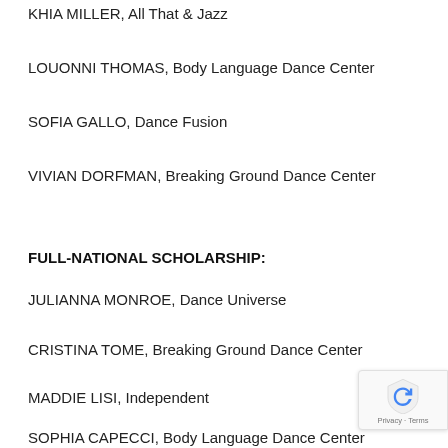KHIA MILLER, All That & Jazz
LOUONNI THOMAS, Body Language Dance Center
SOFIA GALLO, Dance Fusion
VIVIAN DORFMAN, Breaking Ground Dance Center
FULL-NATIONAL SCHOLARSHIP:
JULIANNA MONROE, Dance Universe
CRISTINA TOME, Breaking Ground Dance Center
MADDIE LISI, Independent
SOPHIA CAPECCI, Body Language Dance Center